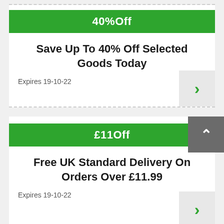40%Off
Save Up To 40% Off Selected Goods Today
Expires 19-10-22
£11Off
Free UK Standard Delivery On Orders Over £11.99
Expires 19-10-22